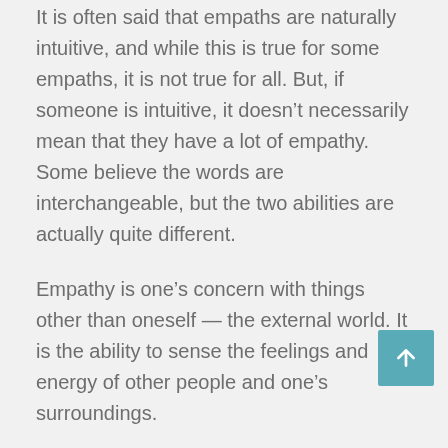It is often said that empaths are naturally intuitive, and while this is true for some empaths, it is not true for all. But, if someone is intuitive, it doesn't necessarily mean that they have a lot of empathy. Some believe the words are interchangeable, but the two abilities are actually quite different.
Empathy is one's concern with things other than oneself — the external world. It is the ability to sense the feelings and energy of other people and one's surroundings.
However, intuition is the internal feelings one has to evaluate and understand a situation. While it involves absorbing the outside world, the final component is very internal.